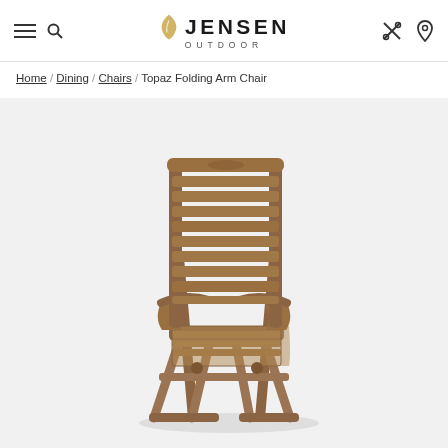Jensen Outdoor - navigation header with hamburger, search, logo, scissors icon, pin icon
Home / Dining / Chairs / Topaz Folding Arm Chair
[Figure (photo): Topaz Folding Arm Chair - wooden folding arm chair with slatted back and seat, medium brown teak finish, shown on white/light grey background]